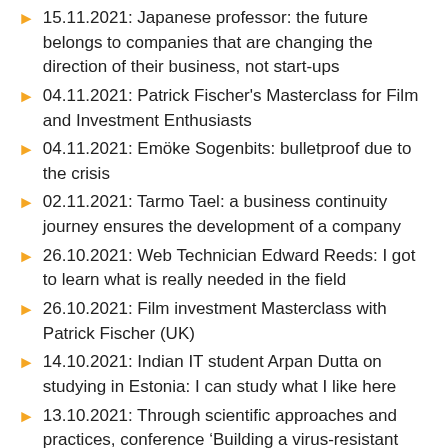15.11.2021: Japanese professor: the future belongs to companies that are changing the direction of their business, not start-ups
04.11.2021: Patrick Fischer's Masterclass for Film and Investment Enthusiasts
04.11.2021: Emöke Sogenbits: bulletproof due to the crisis
02.11.2021: Tarmo Tael: a business continuity journey ensures the development of a company
26.10.2021: Web Technician Edward Reeds: I got to learn what is really needed in the field
26.10.2021: Film investment Masterclass with Patrick Fischer (UK)
14.10.2021: Indian IT student Arpan Dutta on studying in Estonia: I can study what I like here
13.10.2021: Through scientific approaches and practices, conference ‘Building a virus-resistant company’ offers opportunities for preventing and coping with crises
13.10.2021: ELIAS hosted multicultural classroom